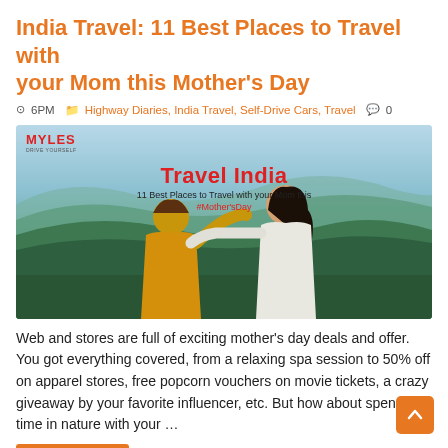India Travel: 11 Best Places to Travel with your Mom this Mother's Day
⊙ 6PM  📁 Highway Diaries, India Travel, Self-Drive Cars, Travel  💬 0
[Figure (photo): Promotional image showing two women (mother and daughter) hugging against a mountain landscape background, with 'MYLES' logo and text 'Travel India - 11 Best Places to Travel with your Mom this #Mother'sDay']
Web and stores are full of exciting mother's day deals and offer. You got everything covered, from a relaxing spa session to 50% off on apparel stores, free popcorn vouchers on movie tickets, a crazy giveaway by your favorite influencer, etc. But how about spending time in nature with your …
Read More »